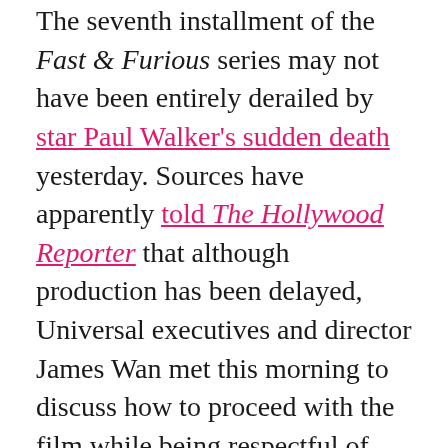The seventh installment of the Fast & Furious series may not have been entirely derailed by star Paul Walker's sudden death yesterday. Sources have apparently told The Hollywood Reporter that although production has been delayed, Universal executives and director James Wan met this morning to discuss how to proceed with the film while being respectful of Walker's death. The film was set for a release date of July 11th, but TMZ has reported that Walker was supposed to film several "key scenes" this week, and that other cast members are too distraught to return to the set any time soon. The Hollywood Reporter's sources also say that Walker and others were scheduled to shoot more scenes, though they say that a large part of the film had already been shot.